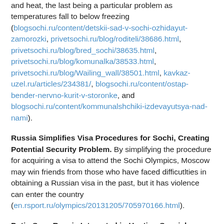and heat, the last being a particular problem as temperatures fall to below freezing (blogsochi.ru/content/detskii-sad-v-sochi-ozhidayut-zamorozki, privetsochi.ru/blog/roditeli/38686.html, privetsochi.ru/blog/bred_sochi/38635.html, privetsochi.ru/blog/komunalka/38533.html, privetsochi.ru/blog/Wailing_wall/38501.html, kavkaz-uzel.ru/articles/234381/, blogsochi.ru/content/ostap-bender-nervno-kurit-v-storonke, and blogsochi.ru/content/kommunalshchiki-izdevayutsya-nad-nami).
Russia Simplifies Visa Procedures for Sochi, Creating Potential Security Problem. By simplifying the procedure for acquiring a visa to attend the Sochi Olympics, Moscow may win friends from those who have faced difficultlties in obtaining a Russian visa in the past, but it has violence can enter the country (en.rsport.ru/olympics/20131205/705970166.html).
Putin Says Russia Interested in Hosting Special Olympics. Russian President Vladimir Putin says that his country "have everything necessary" to host the Special Olympics and "will